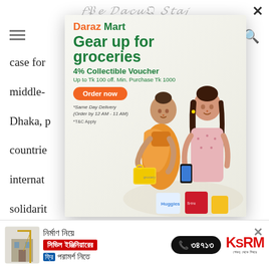[Figure (screenshot): Screenshot of a news website with a Daraz Mart popup advertisement overlay and a bottom banner ad for KSRM construction consultancy.]
case for ... front of middle- ... a Dhaka, p ... ad Pact countries ... international ... d solidarity ... awami League a ... -vis the gates, sc ... t Kagmar ...
[Figure (illustration): Daraz Mart popup ad showing: brand name 'Daraz Mart', headline 'Gear up for groceries', '4% Collectible Voucher', 'Up to Tk 100 off. Min. Purchase Tk 1000', orange 'Order now' button, '*Same Day Delivery (Order by 12 AM - 11 AM)', '*T&C Apply', with image of two women shopping with grocery items.]
[Figure (infographic): Bottom banner ad: Bengali text 'নির্মাণ নিয়ে' then red box 'সিভিল ইঞ্জিনিয়ারের' then 'ফ্রি পরামর্শ নিতে', phone number '১৬৭৪১', KSRM logo with tagline 'শেকড় থেকে শিখরে']